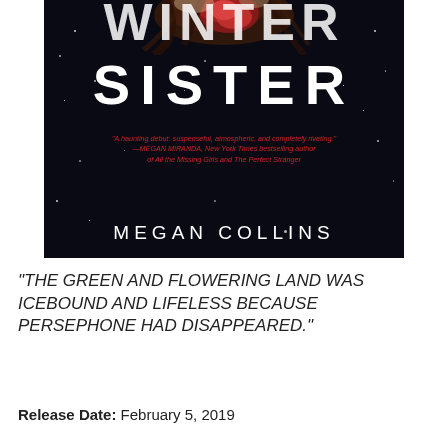[Figure (illustration): Book cover for 'Winter Sister' by Megan Collins. Dark background with stars, partial text 'WINTER' at top (cropped), large white text 'SISTER' in the middle, a red floral/hair artistic image at the top center, a red italic blurb quote from Megan Miranda, and the author name 'MEGAN COLLINS' at the bottom in white letters.]
“THE GREEN AND FLOWERING LAND WAS ICEBOUND AND LIFELESS BECAUSE PERSEPHONE HAD DISAPPEARED.”
Release Date: February 5, 2019